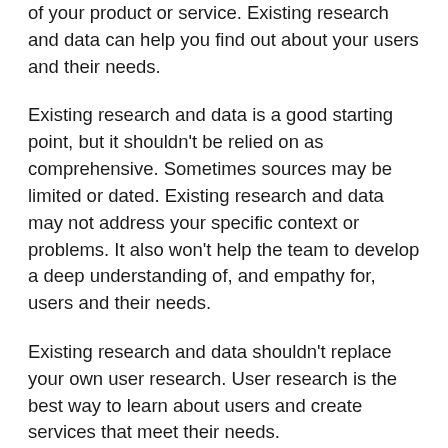of your product or service. Existing research and data can help you find out about your users and their needs.
Existing research and data is a good starting point, but it shouldn't be relied on as comprehensive. Sometimes sources may be limited or dated. Existing research and data may not address your specific context or problems. It also won't help the team to develop a deep understanding of, and empathy for, users and their needs.
Existing research and data shouldn't replace your own user research. User research is the best way to learn about users and create services that meet their needs.
Find existing research and data